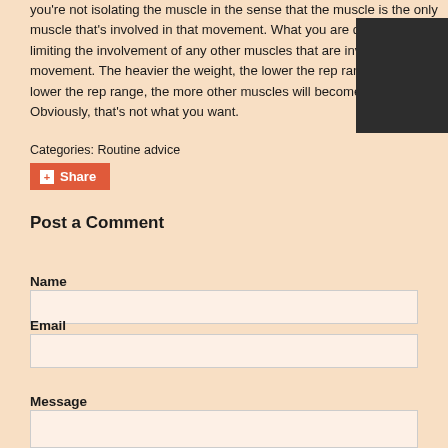you're not isolating the muscle in the sense that the muscle is the only muscle that's involved in that movement. What you are doing is limiting the involvement of any other muscles that are involved in that movement. The heavier the weight, the lower the rep range, and the lower the rep range, the more other muscles will become involved. Obviously, that's not what you want.
Categories: Routine advice
Share
Post a Comment
Name
Email
Message